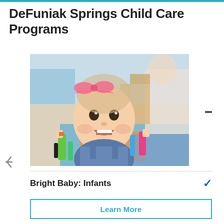DeFuniak Springs Child Care Programs
[Figure (photo): A smiling baby/toddler girl with a pink bow in her hair, holding colorful markers/crayons in a childcare classroom setting]
Bright Baby: Infants
Learn More